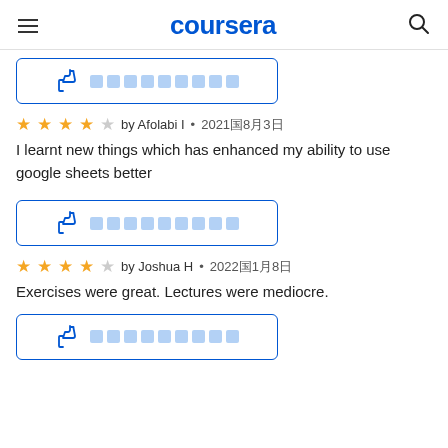coursera
[Figure (other): Thumbs up button with placeholder text blocks - first instance (top, partially visible)]
by Afolabi I • 2021年8月3日
I learnt new things which has enhanced my ability to use google sheets better
[Figure (other): Thumbs up button with placeholder text blocks - second instance]
by Joshua H • 2022年1月8日
Exercises were great. Lectures were mediocre.
[Figure (other): Thumbs up button with placeholder text blocks - third instance (bottom)]